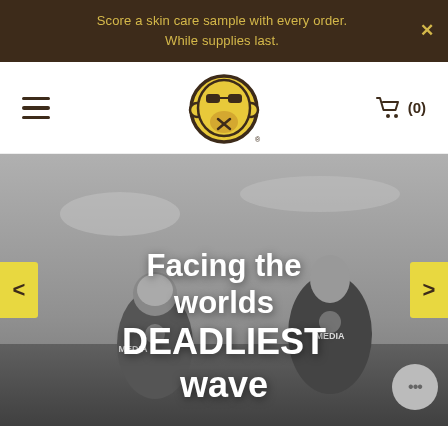Score a skin care sample with every order. While supplies last.
[Figure (logo): Bald Moose or similar brand logo — a round yellow monkey face with sunglasses, in brown circular outline]
[Figure (photo): Black and white photo of two surfers from behind wearing helmets and MEDIA jerseys, ocean background. Overlay text: 'Facing the worlds DEADLIEST wave']